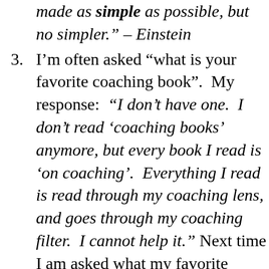made as simple as possible, but no simpler.” – Einstein
I’m often asked “what is your favorite coaching book”.  My response: “I don’t have one.  I don’t read ‘coaching books’ anymore, but every book I read is ‘on coaching’.  Everything I read is read through my coaching lens, and goes through my coaching filter.  I cannot help it.” Next time I am asked what my favorite coaching book is, however, I will